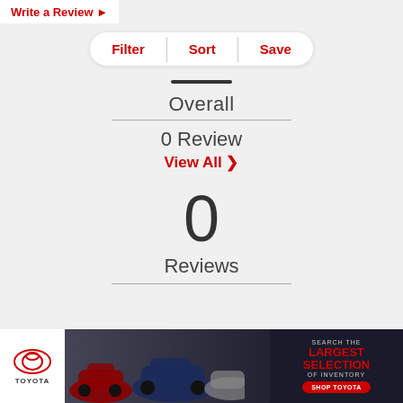Write a Review ▶
Filter  |  Sort  |  Save
Overall
0 Review
View All ›
0
Reviews
[Figure (screenshot): Toyota advertisement banner: Toyota logo on left, cars in center, text 'SEARCH THE LARGEST SELECTION OF INVENTORY' and 'SHOP TOYOTA' button on right]